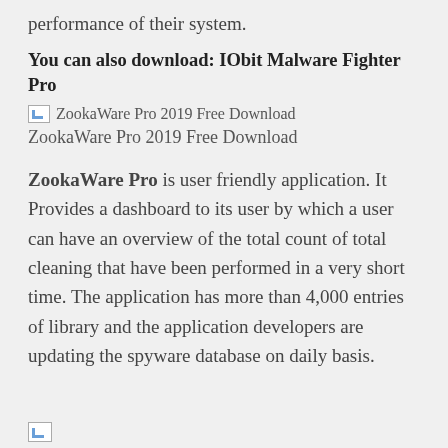performance of their system.
You can also download: IObit Malware Fighter Pro
[Figure (illustration): Broken image placeholder icon with alt text 'ZookaWare Pro 2019 Free Download']
ZookaWare Pro 2019 Free Download
ZookaWare Pro is user friendly application. It Provides a dashboard to its user by which a user can have an overview of the total count of total cleaning that have been performed in a very short time. The application has more than 4,000 entries of library and the application developers are updating the spyware database on daily basis.
[Figure (illustration): Broken image placeholder icon at bottom of page]